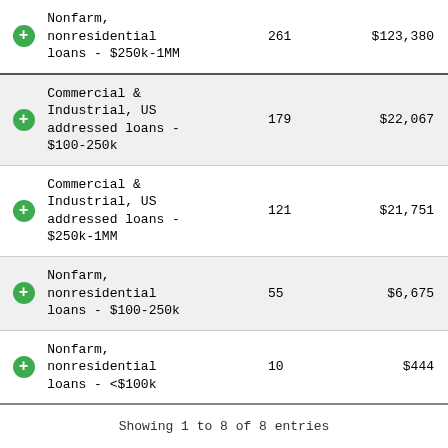|  | Loan Type | Count | Amount |
| --- | --- | --- | --- |
| + | Nonfarm, nonresidential loans - $250k-1MM | 261 | $123,380 |
| + | Commercial & Industrial, US addressed loans - $100-250k | 179 | $22,067 |
| + | Commercial & Industrial, US addressed loans - $250k-1MM | 121 | $21,751 |
| + | Nonfarm, nonresidential loans - $100-250k | 55 | $6,675 |
| + | Nonfarm, nonresidential loans - <$100k | 10 | $444 |
Showing 1 to 8 of 8 entries